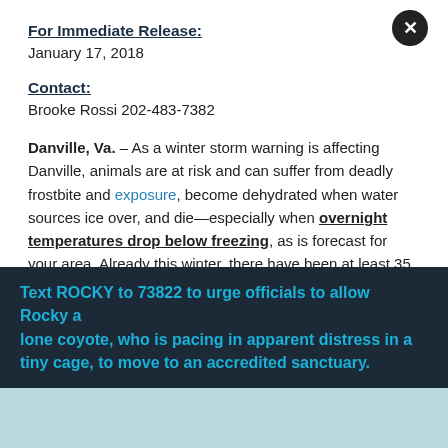For Immediate Release:
January 17, 2018
Contact:
Brooke Rossi 202-483-7382
Danville, Va. – As a winter storm warning is affecting Danville, animals are at risk and can suffer from deadly frostbite and exposure, become dehydrated when water sources ice over, and die—especially when overnight temperatures drop below freezing, as is forecast for your area. Already this winter, there have been at least 35 cold weather-related animal deaths—and these are just the
Text ROCKY to 73822 to urge officials to allow Rocky a lone coyote, who is pacing in apparent distress in a tiny cage, to move to an accredited sanctuary.